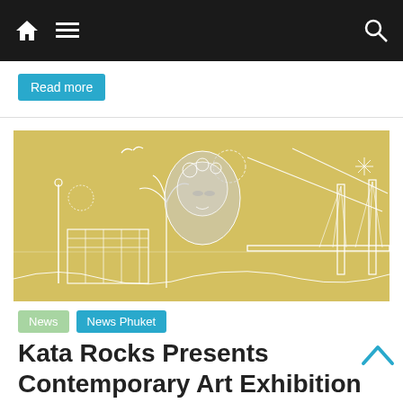Navigation bar with home, menu, and search icons
Read more
[Figure (illustration): Yellow/golden background artwork illustration with white line drawings of a bridge, buildings, tropical plants, and a woman's face in the center with floral elements and birds]
News  News Phuket
Kata Rocks Presents Contemporary Art Exhibition